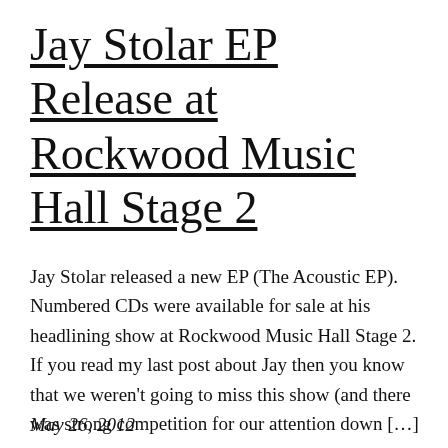Jay Stolar EP Release at Rockwood Music Hall Stage 2
Jay Stolar released a new EP (The Acoustic EP). Numbered CDs were available for sale at his headlining show at Rockwood Music Hall Stage 2. If you read my last post about Jay then you know that we weren't going to miss this show (and there was strong competition for our attention down […]
May 26, 2012